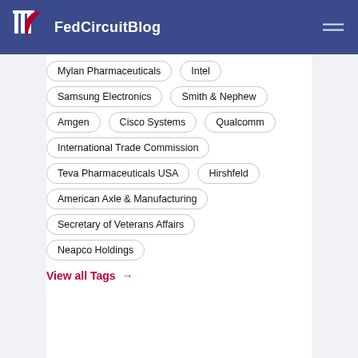FedCircuitBlog
Mylan Pharmaceuticals
Intel
Samsung Electronics
Smith & Nephew
Amgen
Cisco Systems
Qualcomm
International Trade Commission
Teva Pharmaceuticals USA
Hirshfeld
American Axle & Manufacturing
Secretary of Veterans Affairs
Neapco Holdings
View all Tags →